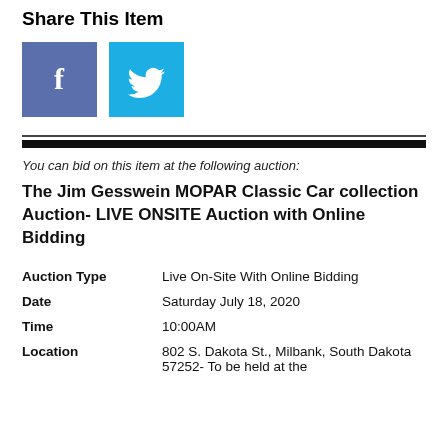Share This Item
[Figure (logo): Facebook and Twitter social sharing icons (blue square with white f, and cyan square with white bird)]
You can bid on this item at the following auction:
The Jim Gesswein MOPAR Classic Car collection Auction- LIVE ONSITE Auction with Online Bidding
| Field | Value |
| --- | --- |
| Auction Type | Live On-Site With Online Bidding |
| Date | Saturday July 18, 2020 |
| Time | 10:00AM |
| Location | 802 S. Dakota St., Milbank, South Dakota 57252- To be held at the |